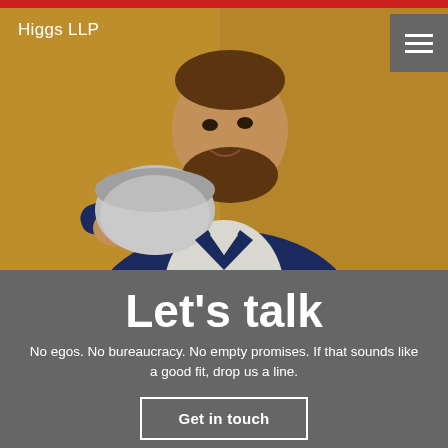[Figure (photo): Bearded man in navy suit holding a large silver bowl/colander, smiling, against a golden padded background. Red bar at top.]
Higgs LLP
Let’s talk
No egos. No bureaucracy. No empty promises. If that sounds like a good fit, drop us a line.
Get in touch